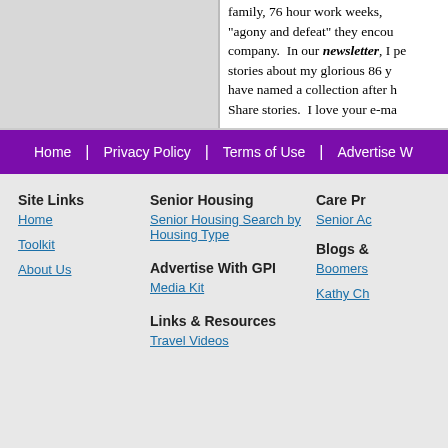[Figure (other): Gray image placeholder box on left side of top content area]
family, 76 hour work weeks, "agony and defeat" they encou company. In our newsletter, I pe stories about my glorious 86 y have named a collection after h Share stories. I love your e-ma
Home | Privacy Policy | Terms of Use | Advertise W
Site Links
Home
Toolkit
About Us
Senior Housing
Senior Housing Search by Housing Type
Advertise With GPI
Media Kit
Links & Resources
Travel Videos
Care Pr
Senior Ac
Blogs &
Boomers
Kathy Ch